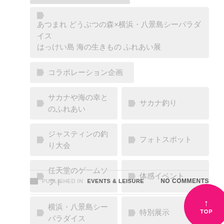あつまれ どうぶつの森×横浜・八景島シーパラダイス はっけい島 海の生きもの ふれあい展
コラボレーション企画
サカナや海の幸とのふれあい
サカナ釣り
ジャスティンの釣り大会
フォトスポット
任天堂のゲームソフト
体感イベント
横浜・八景島シーパラダイス
特別展示
READ MORE
PUBLISHED IN EVENTS & LEISURE
NO COMMENTS
↑ TOP